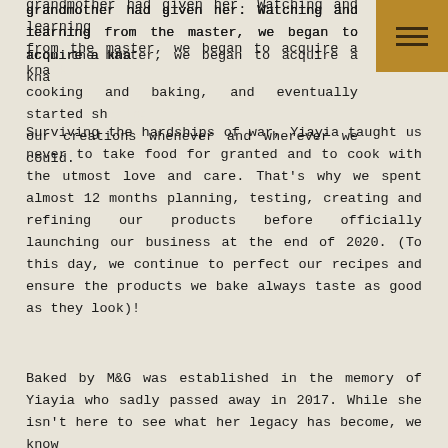grandmother had given her. Watching and learning from the master, we began to acquire a knack for cooking and baking, and eventually started sharing our creations whenever and wherever we could.
Surviving the hardships of war, Yiayia taught us never to take food for granted and to cook with the utmost love and care. That's why we spent almost 12 months planning, testing, creating and refining our products before officially launching our business at the end of 2020. (To this day, we continue to perfect our recipes and ensure the products we bake always taste as good as they look)!
Baked by M&G was established in the memory of Yiayia who sadly passed away in 2017. While she isn't here to see what her legacy has become, we know